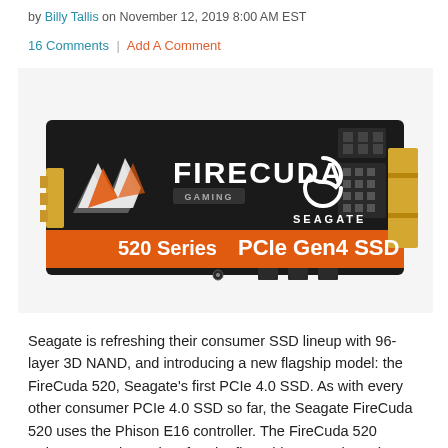by Billy Tallis on November 12, 2019 8:00 AM EST
16 Comments | Add A Comment
[Figure (photo): Seagate FireCuda 520 Series PCIe Gen4 SSD M.2 drive product photo on white background]
Seagate is refreshing their consumer SSD lineup with 96-layer 3D NAND, and introducing a new flagship model: the FireCuda 520, Seagate's first PCIe 4.0 SSD. As with every other consumer PCIe 4.0 SSD so far, the Seagate FireCuda 520 uses the Phison E16 controller. The FireCuda 520 arrives several months after the first Phison E16-based SSDs, and Seagate has used the time to refine the product a bit. They haven't made any firmware tweaks